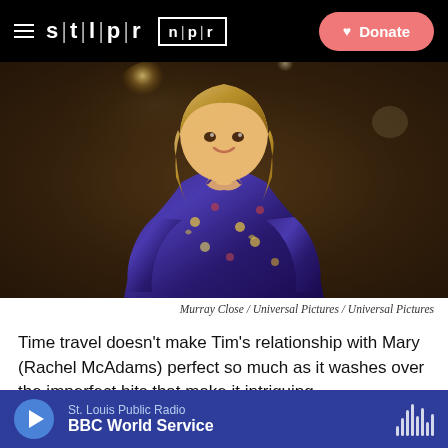STLPR | NPR — Donate
[Figure (photo): Woman with shoulder-length blonde hair wearing a blue patterned dress with colorful print, shot from chest up, smiling, with warm bokeh light source in background]
Murray Close / Universal Pictures / Universal Pictures
Time travel doesn't make Tim's relationship with Mary (Rachel McAdams) perfect so much as it washes over the imperfect bits that make it intriguing.
True enough. Writer-director Richard Curtis — who
St. Louis Public Radio — BBC World Service